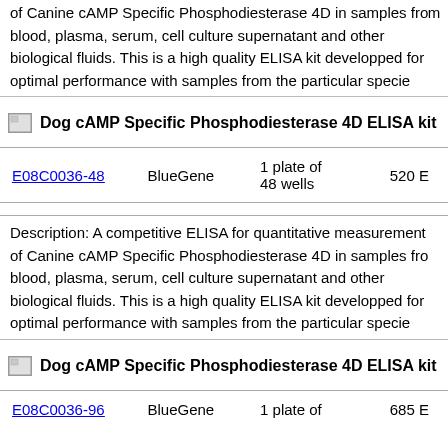of Canine cAMP Specific Phosphodiesterase 4D in samples from blood, plasma, serum, cell culture supernatant and other biological fluids. This is a high quality ELISA kit developped for optimal performance with samples from the particular specie
[Figure (other): Broken image icon for product]
Dog cAMP Specific Phosphodiesterase 4D ELISA kit
| Cat# | Supplier | Quantity | Price |
| --- | --- | --- | --- |
| E08C0036-48 | BlueGene | 1 plate of 48 wells | 520 E |
Description: A competitive ELISA for quantitative measurement of Canine cAMP Specific Phosphodiesterase 4D in samples from blood, plasma, serum, cell culture supernatant and other biological fluids. This is a high quality ELISA kit developped for optimal performance with samples from the particular specie
[Figure (other): Broken image icon for product]
Dog cAMP Specific Phosphodiesterase 4D ELISA kit
| Cat# | Supplier | Quantity | Price |
| --- | --- | --- | --- |
| E08C0036-96 | BlueGene | 1 plate of | 685 E |